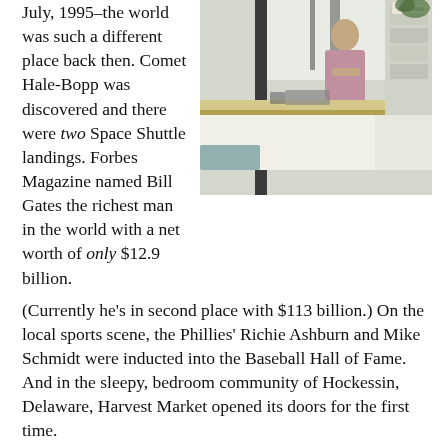July, 1995–the world was such a different place back then. Comet Hale-Bopp was discovered and there were two Space Shuttle landings. Forbes Magazine named Bill Gates the richest man in the world with a net worth of only $12.9 billion.
[Figure (photo): A person standing behind a store counter reading something, with plants and merchandise displays visible in the background.]
(Currently he's in second place with $113 billion.) On the local sports scene, the Phillies' Richie Ashburn and Mike Schmidt were inducted into the Baseball Hall of Fame. And in the sleepy, bedroom community of Hockessin, Delaware, Harvest Market opened its doors for the first time.
When I started Harvest Market in 1995 I had no idea what